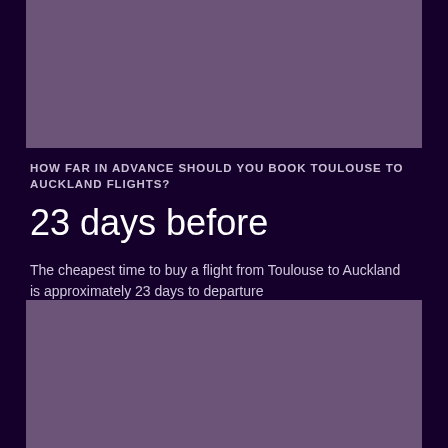[Figure (other): Purple/mauve rectangular image block at top of page]
HOW FAR IN ADVANCE SHOULD YOU BOOK TOULOUSE TO AUCKLAND FLIGHTS?
23 days before
The cheapest time to buy a flight from Toulouse to Auckland is approximately 23 days to departure
[Figure (other): Purple/mauve rectangular image block at bottom of page]